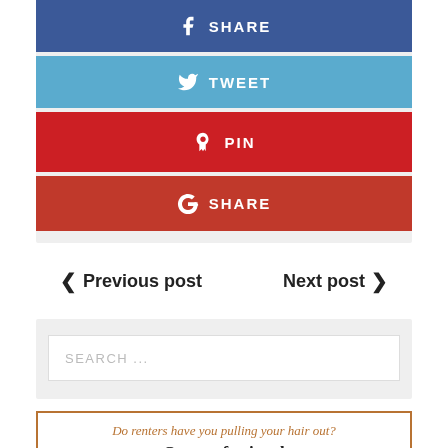[Figure (infographic): Social sharing buttons: Facebook Share (dark blue), Tweet (light blue), Pin (red), Google+ Share (dark red)]
< Previous post   Next post >
[Figure (screenshot): Search input field with placeholder text SEARCH ...]
[Figure (infographic): Advertisement banner with orange border: 'Do renters have you pulling your hair out? Our professional property managers can make']